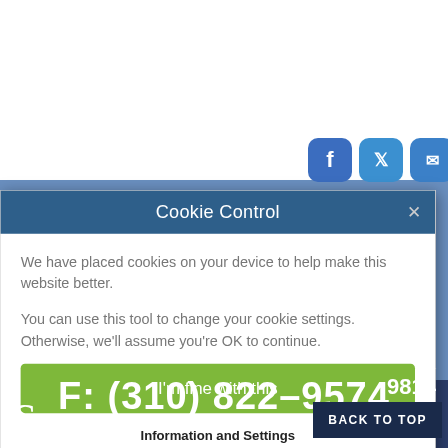[Figure (screenshot): Social media share icons (Facebook, Twitter, Email, Add/Plus) in blue rounded squares]
[Figure (screenshot): Cookie Control modal dialog overlaid on a law firm website. Header: 'Cookie Control' with X close button. Body text about cookies. Green 'I'm fine with this' button. Links: 'Information and Settings' and 'About our cookies' with external link icon.]
F: (310) 822-9574
BACK TO TOP